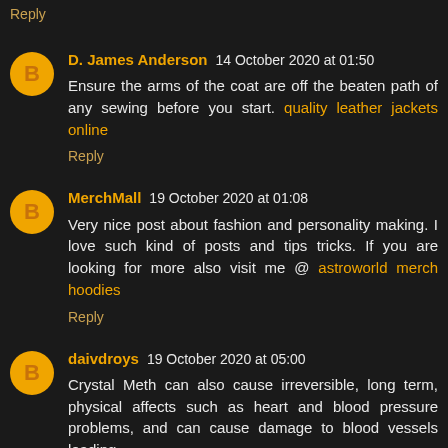Reply
D. James Anderson  14 October 2020 at 01:50
Ensure the arms of the coat are off the beaten path of any sewing before you start. quality leather jackets online
Reply
MerchMall  19 October 2020 at 01:08
Very nice post about fashion and personality making. I love such kind of posts and tips tricks. If you are looking for more also visit me @ astroworld merch hoodies
Reply
daivdroys  19 October 2020 at 05:00
Crystal Meth can also cause irreversible, long term, physical affects such as heart and blood pressure problems, and can cause damage to blood vessels leading to the brain. This can also lead to long term cognitive i